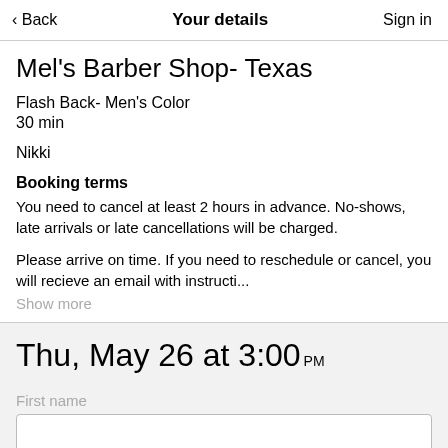Back | Your details | Sign in
Mel's Barber Shop- Texas
Flash Back- Men's Color
30 min
Nikki
Booking terms
You need to cancel at least 2 hours in advance. No-shows, late arrivals or late cancellations will be charged.
Please arrive on time. If you need to reschedule or cancel, you will recieve an email with instructi...
Show more
Thu, May 26 at 3:00 PM
First name